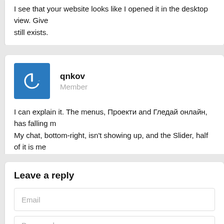I see that your website looks like I opened it in the desktop view. Give still exists.
qnkov
Member
I can explain it. The menus, Проекти and Гледай онлайн, has falling m My chat, bottom-right, isn't showing up, and the Slider, half of it is me
Leave a reply
Email
Password